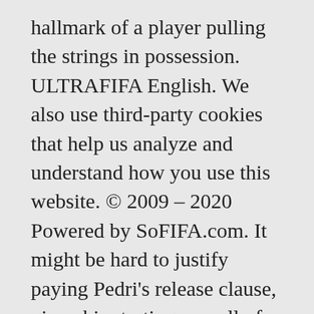hallmark of a player pulling the strings in possession. ULTRAFIFA English. We also use third-party cookies that help us analyze and understand how you use this website. © 2009 – 2020 Powered by SoFIFA.com. It might be hard to justify paying Pedri's release clause, given his starting overall of 72. https://www.transfermarkt.com/riqui-puig/profil/spieler/331511 Preocupación máxima con el estancamiento de Riqui Puig El canterano azulgrana no entra en los planes de Koeman y es uno de los talentos más grandes de La Masía Por Héctor Andreu 30/10/2020 14:56 Fecha nacimiento 13 de Agosto de 1999. Riqui Puig; Riqui Puig FIFA 21 España. Riqui Puig was born on Aug. 13, 1999. Last season